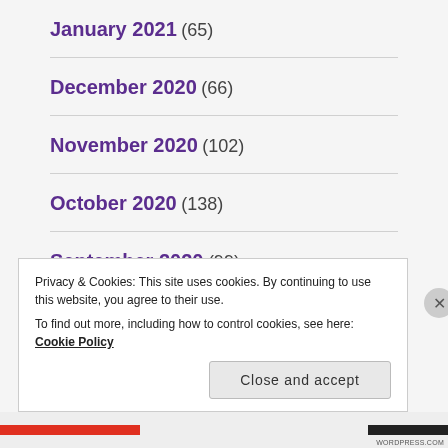January 2021 (65)
December 2020 (66)
November 2020 (102)
October 2020 (138)
September 2020 (99)
August 2020 (114)
Privacy & Cookies: This site uses cookies. By continuing to use this website, you agree to their use.
To find out more, including how to control cookies, see here: Cookie Policy
Close and accept